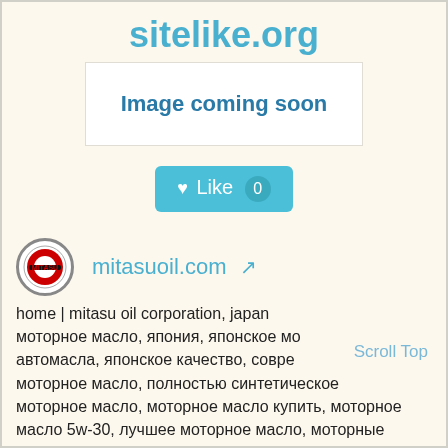sitelike.org
[Figure (illustration): White box with text 'Image coming soon' in blue]
[Figure (other): Like button with heart icon and count 0]
[Figure (logo): Mitasuoil.com logo circle with red and black design]
mitasuoil.com
home | mitasu oil corporation, japan моторное масло, япония, японское мо автомасла, японское качество, совре моторное масло, полностью синтетическое моторное масло, моторное масло купить, моторное масло 5w-30, лучшее моторное масло, моторные масла оптом, моторное масло для японских автомобилей, жидкость для автоматических трансмиссий, трансмиссионное масло
Scroll Top